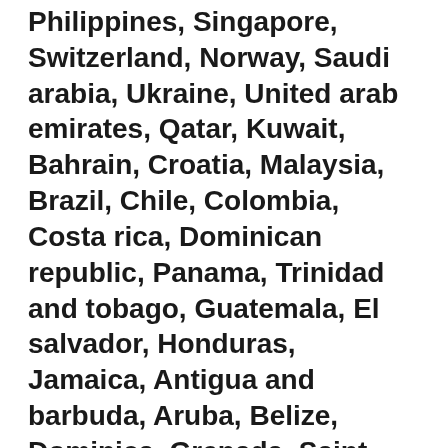Philippines, Singapore, Switzerland, Norway, Saudi arabia, Ukraine, United arab emirates, Qatar, Kuwait, Bahrain, Croatia, Malaysia, Brazil, Chile, Colombia, Costa rica, Dominican republic, Panama, Trinidad and tobago, Guatemala, El salvador, Honduras, Jamaica, Antigua and barbuda, Aruba, Belize, Dominica, Grenada, Saint kitts and nevis, Saint lucia, Montserrat, Turks and caicos islands, Barbados, Bangladesh, Bermuda, Brunei darussalam, Bolivia, Ecuador, Egypt, French guiana, Guernsey, Gibraltar, Guadeloupe, Iceland, Jersey, Jordan, Cambodia, Cayman islands, Liechtenstein, Sri lanka, Luxembourg, Monaco, Macao, Martinique, Maldives, Nicaragua, Oman, Peru, Pakistan, Paraguay, Reunion, Viet nam, Uruguay, Russian